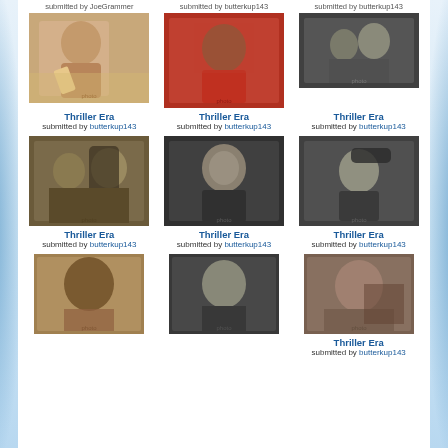Submitted by JoeGrammer / Submitted by butterkup143 / Submitted by butterkup143
[Figure (photo): Color photo of Michael Jackson posing, Thriller era]
Thriller Era
submitted by butterkup143
[Figure (photo): Color photo of Michael Jackson in red jacket, Thriller era]
Thriller Era
submitted by butterkup143
[Figure (photo): Black and white photo of Michael Jackson with someone, Thriller era]
Thriller Era
submitted by butterkup143
[Figure (photo): Sepia/black and white photo of Michael Jackson with another person, Thriller era]
Thriller Era
submitted by butterkup143
[Figure (photo): Black and white close-up of Michael Jackson, Thriller era]
Thriller Era
submitted by butterkup143
[Figure (photo): Black and white photo of Michael Jackson smiling, Thriller era]
Thriller Era
submitted by butterkup143
[Figure (photo): Color photo of Michael Jackson side profile, Thriller era]
[Figure (photo): Black and white photo of Michael Jackson, Thriller era]
[Figure (photo): Sepia photo of Michael Jackson in car, Thriller era]
Thriller Era
submitted by butterkup143